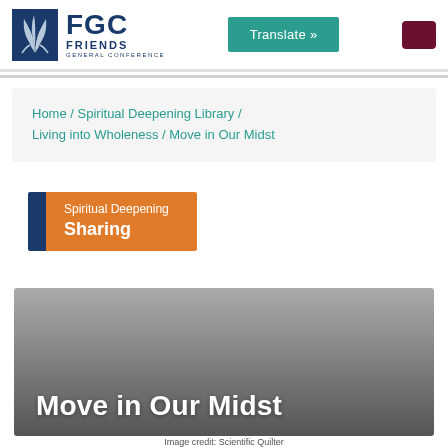FGC Friends General Conference | Translate » | [menu button]
Home / Spiritual Deepening Library / Living into Wholeness / Move in Our Midst
Spiritual Deepening
Sharing
Move in Our Midst
Image credit: Scientific Quilter